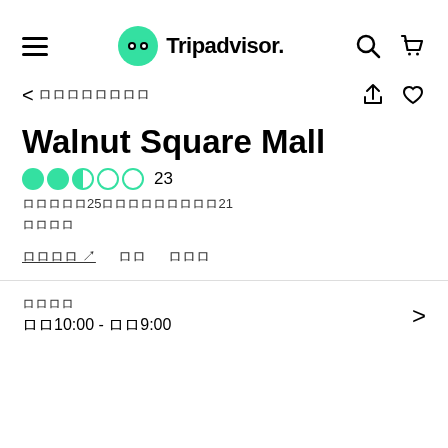Tripadvisor
< ロロロロロロロロ
Walnut Square Mall
●●◐○○  23
ロロロロロ25ロロロロロロロロロ21
ロロロロ
ロロロロ ↗   ロロ   ロロロ
ロロロロ
ロロ10:00 - ロロ9:00